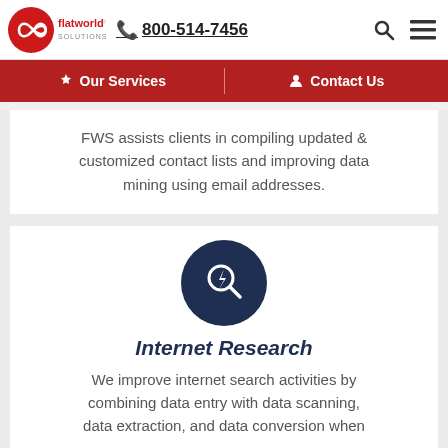flatworld solutions | 800-514-7456
Our Services | Contact Us
FWS assists clients in compiling updated & customized contact lists and improving data mining using email addresses.
[Figure (illustration): Dark navy circle with magnifying glass and lightning bolt icon]
Internet Research
We improve internet search activities by combining data entry with data scanning, data extraction, and data conversion when